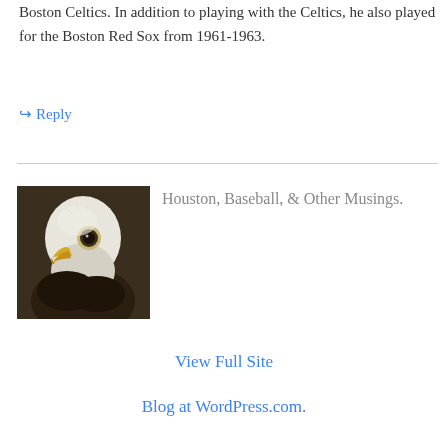Boston Celtics. In addition to playing with the Celtics, he also played for the Boston Red Sox from 1961-1963.
↳ Reply
[Figure (photo): Close-up portrait of a bald eagle with white head feathers, yellow beak open, and dark body feathers against a blurred dark background.]
Houston, Baseball, & Other Musings.
View Full Site
Blog at WordPress.com.